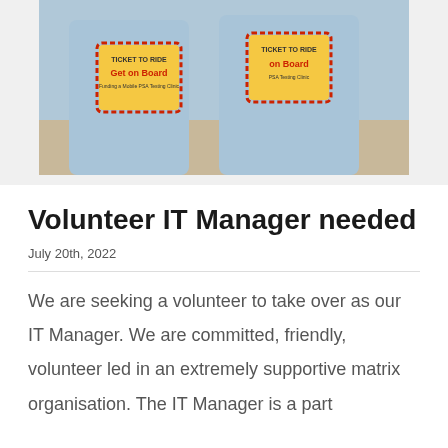[Figure (photo): Two people wearing light blue t-shirts with 'Ticket to Ride - Get on Board - Funding a Mobile PSA Testing Clinic' printed on the back, standing outdoors.]
Volunteer IT Manager needed
July 20th, 2022
We are seeking a volunteer to take over as our IT Manager.  We are committed, friendly, volunteer led in an extremely supportive matrix organisation. The IT Manager is a part